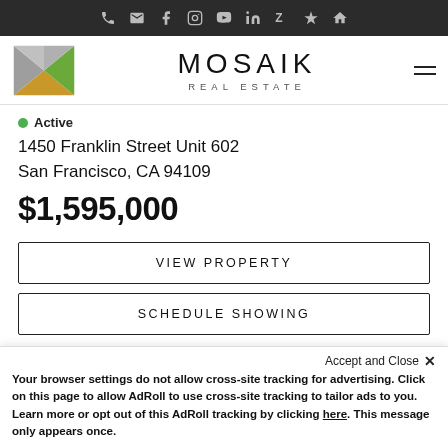Mosaik Real Estate — navigation bar with social/contact icons
[Figure (logo): Mosaik Real Estate logo with geometric triangles in grey, yellow, and green, and text MOSAIK REAL ESTATE]
Active
1450 Franklin Street Unit 602
San Francisco, CA 94109
$1,595,000
VIEW PROPERTY
SCHEDULE SHOWING
Accept and Close ✕ Your browser settings do not allow cross-site tracking for advertising. Click on this page to allow AdRoll to use cross-site tracking to tailor ads to you. Learn more or opt out of this AdRoll tracking by clicking here. This message only appears once.